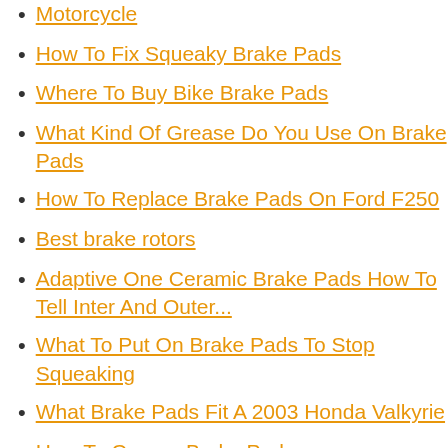Motorcycle
How To Fix Squeaky Brake Pads
Where To Buy Bike Brake Pads
What Kind Of Grease Do You Use On Brake Pads
How To Replace Brake Pads On Ford F250
Best brake rotors
Adaptive One Ceramic Brake Pads How To Tell Inter And Outer...
What To Put On Brake Pads To Stop Squeaking
What Brake Pads Fit A 2003 Honda Valkyrie
How To Grease Brake Pads
What Size Brake Pads Do I Need For My Bokr
What Kind Of Brake Pads For Bike
Where To Apply Brake Grease On Brake Pads